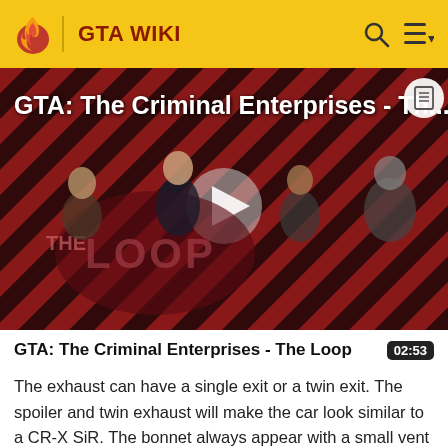GTA WIKI
[Figure (screenshot): GTA Wiki video thumbnail showing 'GTA: The Criminal Enterprises - The Loop' with four game characters on a red striped background and The Loop watermark. A play button triangle is centered. A document icon is in the top right corner.]
GTA: The Criminal Enterprises - The Loop
02:53
The exhaust can have a single exit or a twin exit. The spoiler and twin exhaust will make the car look similar to a CR-X SiR. The bonnet always appear with a small vent